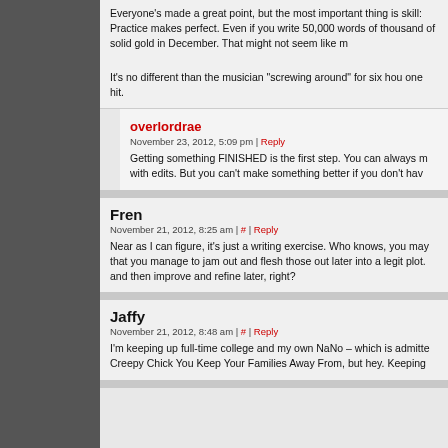Everyone's made a great point, but the most important thing is skill: Practice makes perfect. Even if you write 50,000 words of thousand of solid gold in December. That might not seem like m
It's no different than the musician "screwing around" for six hou one hit.
overlordrae
November 23, 2012, 5:09 pm | Reply
Getting something FINISHED is the first step. You can always m with edits. But you can't make something better if you don't hav
Fren
November 21, 2012, 8:25 am | # | Reply
Near as I can figure, it's just a writing exercise. Who knows, you may that you manage to jam out and flesh those out later into a legit plot. and then improve and refine later, right?
Jaffy
November 21, 2012, 8:48 am | # | Reply
I'm keeping up full-time college and my own NaNo – which is admitte Creepy Chick You Keep Your Families Away From, but hey. Keeping